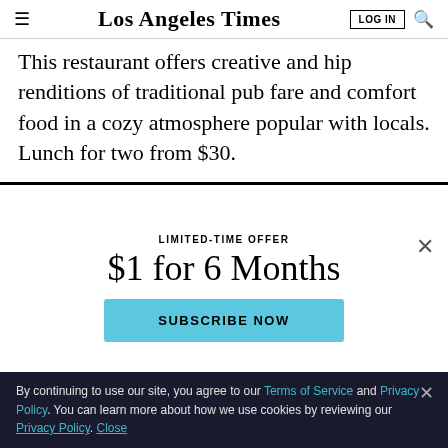Los Angeles Times | LOG IN | Search
This restaurant offers creative and hip renditions of traditional pub fare and comfort food in a cozy atmosphere popular with locals. Lunch for two from $30.
LIMITED-TIME OFFER
$1 for 6 Months
SUBSCRIBE NOW
By continuing to use our site, you agree to our Terms of Service and Privacy Policy. You can learn more about how we use cookies by reviewing our Privacy Policy. Close